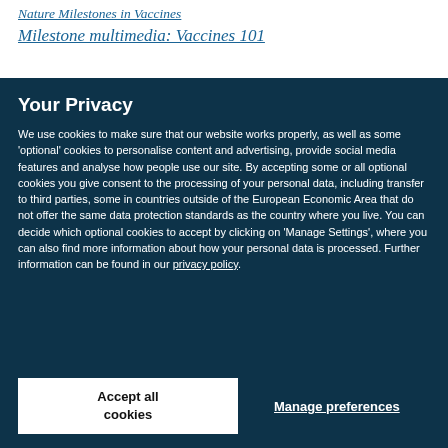Nature Milestones in Vaccines
Milestone multimedia: Vaccines 101
Your Privacy
We use cookies to make sure that our website works properly, as well as some 'optional' cookies to personalise content and advertising, provide social media features and analyse how people use our site. By accepting some or all optional cookies you give consent to the processing of your personal data, including transfer to third parties, some in countries outside of the European Economic Area that do not offer the same data protection standards as the country where you live. You can decide which optional cookies to accept by clicking on 'Manage Settings', where you can also find more information about how your personal data is processed. Further information can be found in our privacy policy.
Accept all cookies
Manage preferences